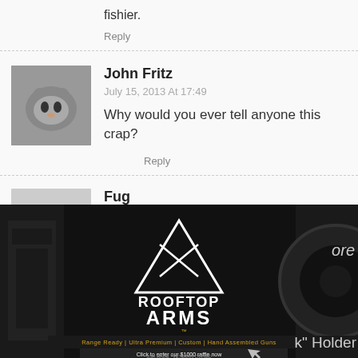fishier.
Reply
John Fritz
July 15, 2013 At 17:49
Why would you ever tell anyone this crap?
Reply
Fug
July 15, 2013 At 18:05
Reminds me of Leahy from Trailer Park Boys.
Reply
[Figure (photo): Rooftop Arms advertisement banner showing military-style rifles, a dark tactical background, logo with triangle/rifle graphic, text: 'ROOFTOP ARMS', 'Range Ready | Ultra Premium | Custom | Hand Assembled Guns', 'Click to enter our $1000 raffle now', 'USA MADE · VETERAN OWNED']